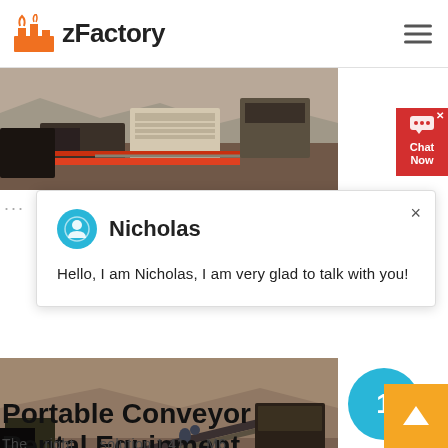zFactory
[Figure (photo): Industrial quarry crushing/processing equipment with machinery and conveyor belts on rocky terrain]
[Figure (screenshot): Chat popup with Nicholas avatar and greeting message: Hello, I am Nicholas, I am very glad to talk with you!]
[Figure (photo): Portable conveyor belt equipment at a mining/construction site with dirt terrain]
Portable Conveyor Rental Equipment
The right solution 1 41 M6